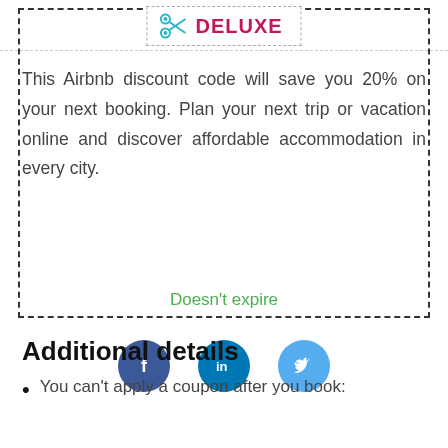[Figure (logo): Scissors icon with dashed border rectangle and DELUXE text label in bold pink/crimson]
This Airbnb discount code will save you 20% on your next booking. Plan your next trip or vacation online and discover affordable accommodation in every city.
Doesn't expire
[Figure (infographic): Three social media circular icons: Facebook (dark blue), LinkedIn (teal blue), Twitter (light blue)]
Additional details
You can't apply a coupon after you book: